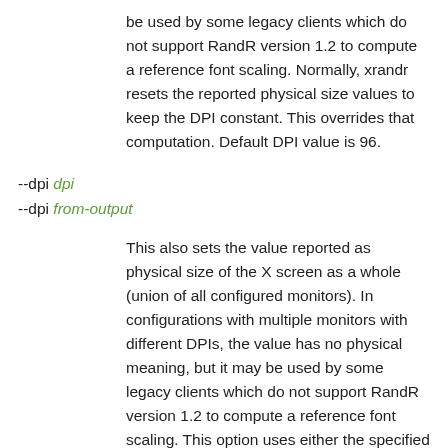be used by some legacy clients which do not support RandR version 1.2 to compute a reference font scaling. Normally, xrandr resets the reported physical size values to keep the DPI constant. This overrides that computation. Default DPI value is 96.
--dpi dpi
--dpi from-output
This also sets the value reported as physical size of the X screen as a whole (union of all configured monitors). In configurations with multiple monitors with different DPIs, the value has no physical meaning, but it may be used by some legacy clients which do not support RandR version 1.2 to compute a reference font scaling. This option uses either the specified DPI, or uses the DPI of the gi...